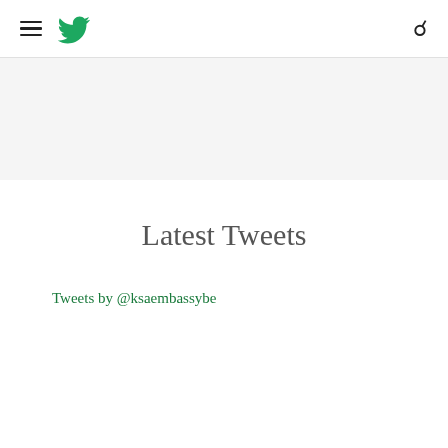≡ [Twitter bird icon] [Search icon]
Latest Tweets
Tweets by @ksaembassybe